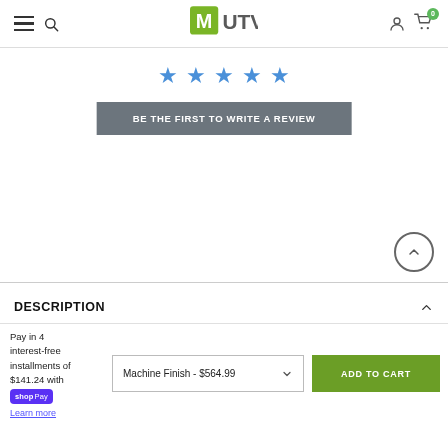MUTV navigation header with hamburger menu, search, logo, user icon, and cart (0)
[Figure (other): Five blue star rating icons in a row]
BE THE FIRST TO WRITE A REVIEW
[Figure (other): Back to top circular button with upward chevron]
DESCRIPTION
Pay in 4 interest-free installments of $141.24 with Shop Pay
Learn more
Machine Finish - $564.99
ADD TO CART